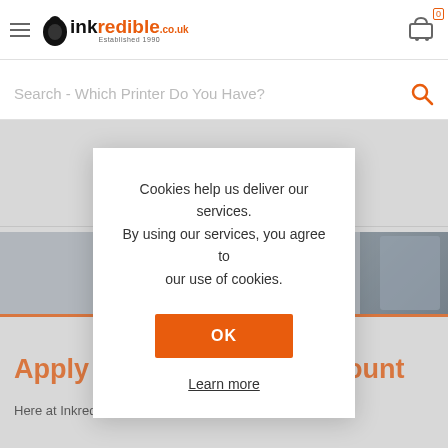[Figure (screenshot): Inkredible.co.uk website header with hamburger menu, logo, and shopping cart icon showing 0 items]
Search - Which Printer Do You Have?
[Figure (photo): Banner image showing YOUR BUSINESS text with a person in background]
Cookies help us deliver our services. By using our services, you agree to our use of cookies.
OK
Learn more
Apply For a Business Account
Here at Inkredible, we like to make ordering ink supplies